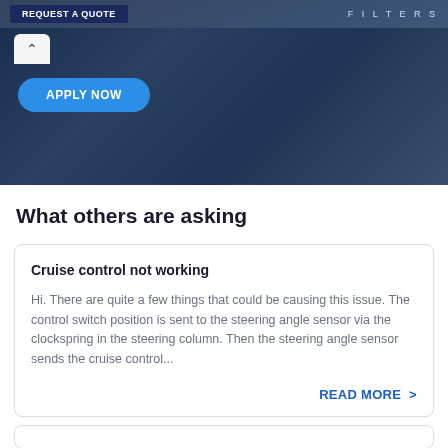[Figure (screenshot): Website banner with dark blue background showing a vehicle/machinery scene, 'REQUEST A QUOTE' button, 'FILTERS' text, up-arrow UI element, and a blue 'APPLY NOW' rounded button]
What others are asking
Cruise control not working
Hi. There are quite a few things that could be causing this issue. The control switch position is sent to the steering angle sensor via the clockspring in the steering column. Then the steering angle sensor sends the cruise control...
READ MORE >